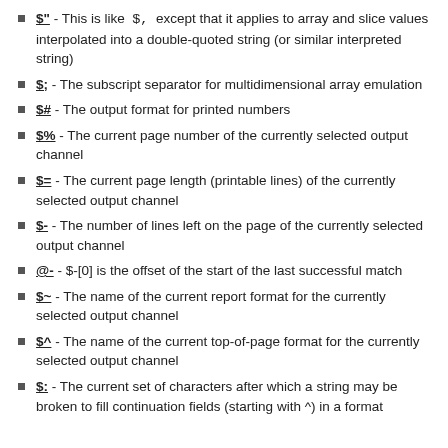$" - This is like $, except that it applies to array and slice values interpolated into a double-quoted string (or similar interpreted string)
$; - The subscript separator for multidimensional array emulation
$# - The output format for printed numbers
$% - The current page number of the currently selected output channel
$= - The current page length (printable lines) of the currently selected output channel
$- - The number of lines left on the page of the currently selected output channel
@- - $-[0] is the offset of the start of the last successful match
$~ - The name of the current report format for the currently selected output channel
$^ - The name of the current top-of-page format for the currently selected output channel
$: - The current set of characters after which a string may be broken to fill continuation fields (starting with ^) in a format